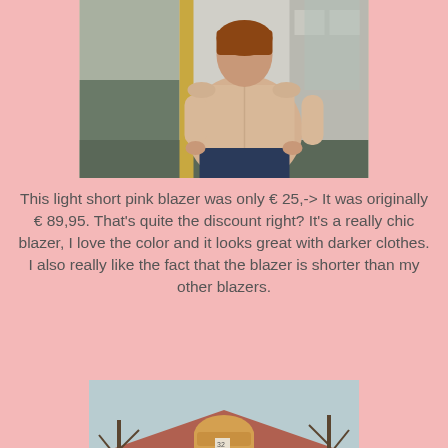[Figure (photo): Back view of a woman wearing a light short pink blazer, standing outside near a building with windows visible]
This light short pink blazer was only € 25,-> It was originally € 89,95. That's quite the discount right? It's a really chic blazer, I love the color and it looks great with darker clothes. I also really like the fact that the blazer is shorter than my other blazers.
[Figure (photo): Front view of a young woman with blonde hair smiling, standing outside in front of a house with bare trees in the background]